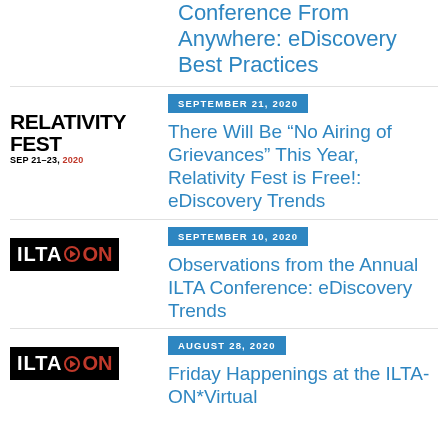Conference From Anywhere: eDiscovery Best Practices
[Figure (logo): Relativity Fest SEP 21-23, 2020 logo]
SEPTEMBER 21, 2020
There Will Be “No Airing of Grievances” This Year, Relativity Fest is Free!: eDiscovery Trends
[Figure (logo): ILTA ON logo (black background, red ON text)]
SEPTEMBER 10, 2020
Observations from the Annual ILTA Conference: eDiscovery Trends
[Figure (logo): ILTA ON logo (black background, red ON text)]
AUGUST 28, 2020
Friday Happenings at the ILTA-ON*Virtual